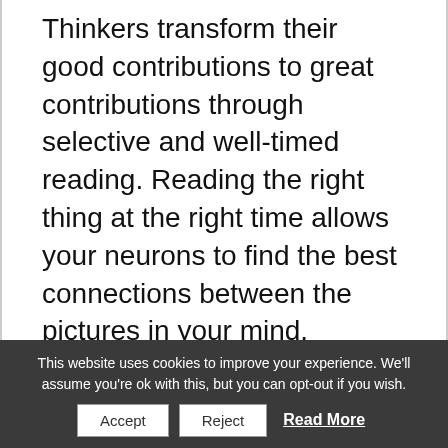Thinkers transform their good contributions to great contributions through selective and well-timed reading. Reading the right thing at the right time allows your neurons to find the best connections between the pictures in your mind.
Exercise: Read at least one page a day.
This website uses cookies to improve your experience. We'll assume you're ok with this, but you can opt-out if you wish.